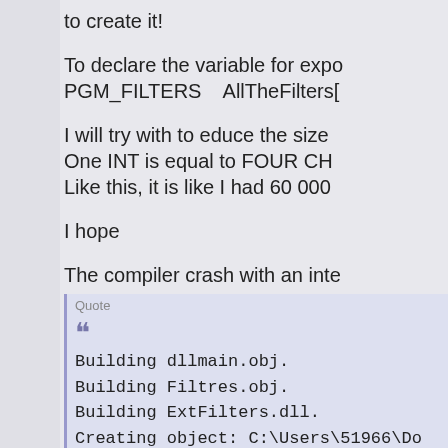to create it!
To declare the variable for expo PGM_FILTERS   AllTheFilters[
I will try with to educe the size One INT is equal to FOUR CHA Like this, it is like I had 60 000
I hope
The compiler crash with an inte
Quote
Building dllmain.obj.
Building Filtres.obj.
Building ExtFilters.dll.
Creating object: C:\Users\51966\Do Projects\Cfe\ExtFilters\ExtFilters.exp
Creating library: C:\Users\51966\Do Projects\Cfe\ExtFilters\ExtFilters.lib